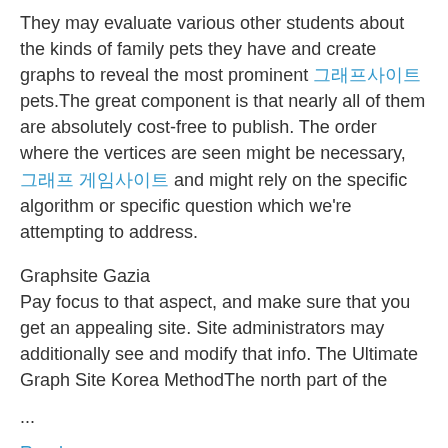They may evaluate various other students about the kinds of family pets they have and create graphs to reveal the most prominent 그래프사이트 pets.The great component is that nearly all of them are absolutely cost-free to publish. The order where the vertices are seen might be necessary, 그래프 게임사이트 and might rely on the specific algorithm or specific question which we're attempting to address.
Graphsite Gazia
Pay focus to that aspect, and make sure that you get an appealing site. Site administrators may additionally see and modify that info. The Ultimate Graph Site Korea MethodThe north part of the
...
Read more →